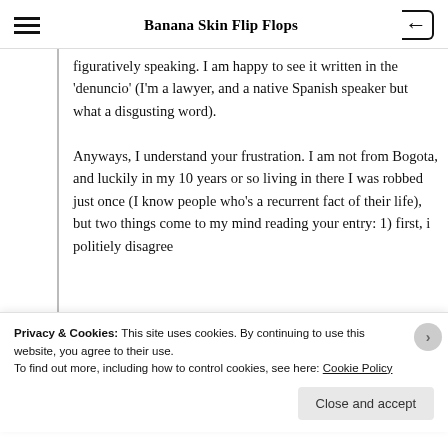Banana Skin Flip Flops
figuratively speaking. I am happy to see it written in the 'denuncio' (I'm a lawyer, and a native Spanish speaker but what a disgusting word). Anyways, I understand your frustration. I am not from Bogota, and luckily in my 10 years or so living in there I was robbed just once (I know people who's a recurrent fact of their life), but two things come to my mind reading your entry: 1) first, i politiely disagree
Privacy & Cookies: This site uses cookies. By continuing to use this website, you agree to their use. To find out more, including how to control cookies, see here: Cookie Policy
Close and accept